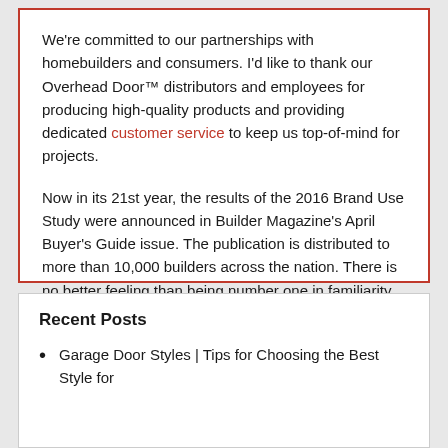We're committed to our partnerships with homebuilders and consumers. I'd like to thank our Overhead Door™ distributors and employees for producing high-quality products and providing dedicated customer service to keep us top-of-mind for projects.
Now in its 21st year, the results of the 2016 Brand Use Study were announced in Builder Magazine's April Buyer's Guide issue. The publication is distributed to more than 10,000 builders across the nation. There is no better feeling than being number one in familiarity, quality, and usage with our customers.
Recent Posts
Garage Door Styles | Tips for Choosing the Best Style for